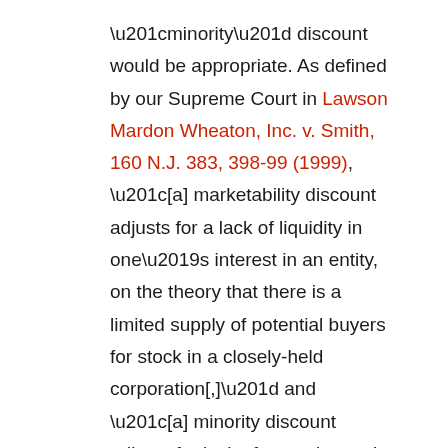“minority” discount would be appropriate. As defined by our Supreme Court in Lawson Mardon Wheaton, Inc. v. Smith, 160 N.J. 383, 398-99 (1999), “[a] marketability discount adjusts for a lack of liquidity in one’s interest in an entity, on the theory that there is a limited supply of potential buyers for stock in a closely-held corporation[,]” and “[a] minority discount adjusts for lack of control over the business entity on the theory that non-controlling shares of stock are not worth their proportionate share of the firm’s value because they lack voting power to control corporate actions.”
Both concepts are generally applied when we are attempting to derive “fair market value.” If a closely held business is sold on the open market,